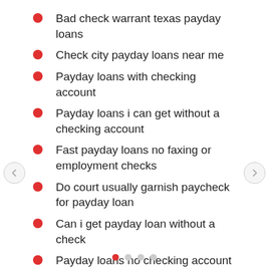Bad check warrant texas payday loans
Check city payday loans near me
Payday loans with checking account
Payday loans i can get without a checking account
Fast payday loans no faxing or employment checks
Do court usually garnish paycheck for payday loan
Can i get payday loan without a check
Payday loans no checking account wichita ks newspaper